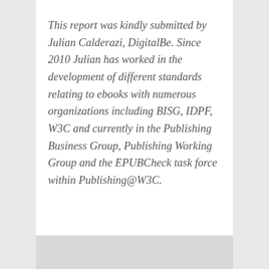This report was kindly submitted by Julian Calderazi, DigitalBe. Since 2010 Julian has worked in the development of different standards relating to ebooks with numerous organizations including BISG, IDPF, W3C and currently in the Publishing Business Group, Publishing Working Group and the EPUBCheck task force within Publishing@W3C.